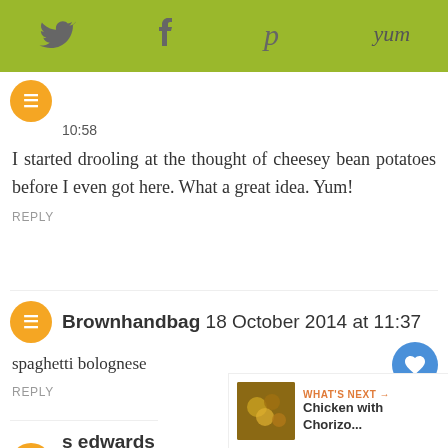Social sharing bar with Twitter, Facebook, Pinterest, Yum icons
10:58
I started drooling at the thought of cheesey bean potatoes before I even got here. What a great idea. Yum!
REPLY
Brownhandbag 18 October 2014 at 11:37
spaghetti bolognese
REPLY
s edwards 18 October 2014 at
A Chicken Stew
WHAT'S NEXT → Chicken with Chorizo...